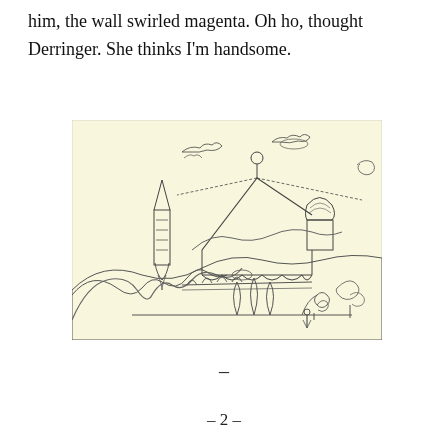him, the wall swirled magenta. Oh ho, thought Derringer. She thinks I'm handsome.
[Figure (illustration): A line drawing on a pale yellow background depicting a fantastical landscape with a castle or palace, a tall spire tower on the left, a large tent or marquee structure with guy-ropes in the center-right, an onion-domed turret, rolling hills, arched bridges, teardrop-shaped trees or flames in the foreground, decorative swirling clouds or creatures in the sky, and two small human figures standing at the right side near the base.]
–
– 2 –